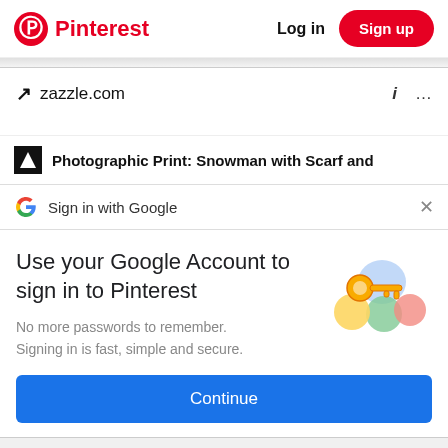Pinterest   Log in   Sign up
zazzle.com
Photographic Print: Snowman with Scarf and
Sign in with Google
Use your Google Account to sign in to Pinterest
No more passwords to remember. Signing in is fast, simple and secure.
Continue